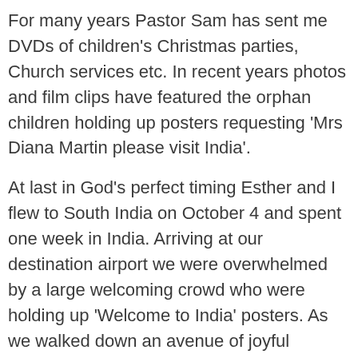For many years Pastor Sam has sent me DVDs of children's Christmas parties, Church services etc. In recent years photos and film clips have featured the orphan children holding up posters requesting 'Mrs Diana Martin please visit India'.
At last in God's perfect timing Esther and I flew to South India on October 4 and spent one week in India. Arriving at our destination airport we were overwhelmed by a large welcoming crowd who were holding up 'Welcome to India' posters. As we walked down an avenue of joyful praising Indian Christians we were showered with flower petals. It was wonderful to hear shouts of 'praise the Lord' at this Indian airport!
We were taken by taxi to a comfortable hotel room